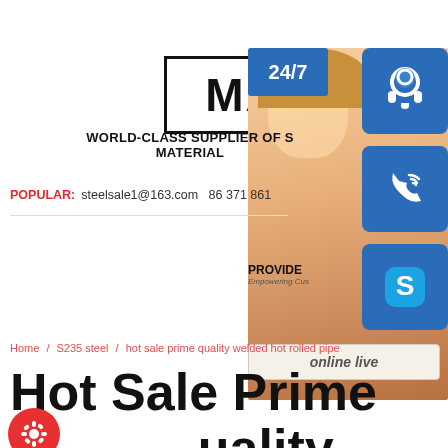[Figure (logo): MAGZ logo in bold text inside a rectangle border]
[Figure (photo): Customer service representative with headset, 24/7 badge, communication icons (headset, phone, Skype), and online live button on the right side]
WORLD-CLASS SUPPLIER OF S MATERIAL
POPULAR: steelsale1@163.com 86 371 861
Home / S235 steel / hot sale prime quality welded hot rolled pipe
Hot Sale Prime Quality Welded Hot Rolled Pipe